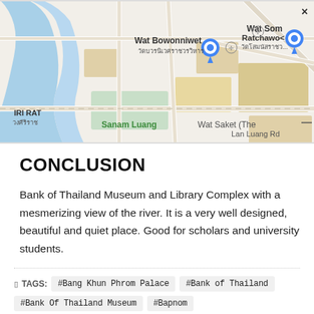[Figure (map): Google Maps screenshot showing Bangkok area with markers for Wat Bowonniwet (วัดบวรนิเวศราชวรวิหาร), Wat Som Ratchawo (วัดโสมนัสราชว), Sanam Luang, Wat Saket (The...), Lan Luang Rd, IRI RAT (วงศีริราช), and Wisut Kasat road. Blue river visible on left side.]
CONCLUSION
Bank of Thailand Museum and Library Complex with a mesmerizing view of the river. It is a very well designed, beautiful and quiet place. Good for scholars and university students.
TAGS: #Bang Khun Phrom Palace  #Bank of Thailand  #Bank Of Thailand Museum  #Bapnom